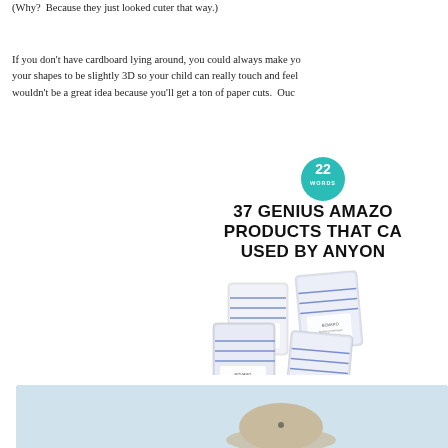(Why?  Because they just looked cuter that way.)
If you don't have cardboard lying around, you could always make your shapes to be slightly 3D so your child can really touch and feel. wouldn't be a great idea because you'll get a ton of paper cuts.  Ouc
[Figure (infographic): 22 Words badge logo (teal circle) with text '22 WORDS', and bold headline '37 GENIUS AMAZON PRODUCTS THAT CA... USED BY ANYON...' with product image showing blue and white patterned wipe packets]
[Figure (photo): Partial bottom image showing light blue background with what appears to be a beige/tan hat or product]